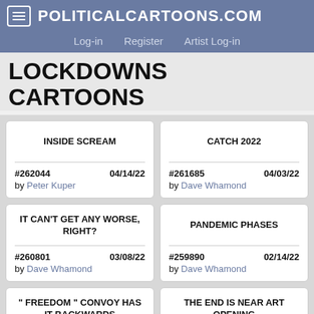PoliticalCartoons.com – Log-in | Register | Artist Log-in
LOCKDOWNS CARTOONS
INSIDE SCREAM
#262044  04/14/22
by Peter Kuper
CATCH 2022
#261685  04/03/22
by Dave Whamond
IT CAN'T GET ANY WORSE, RIGHT?
#260801  03/08/22
by Dave Whamond
PANDEMIC PHASES
#259890  02/14/22
by Dave Whamond
" FREEDOM " CONVOY HAS IT BACKWARDS
#259850  02/13/22
THE END IS NEAR ART OPENING
#259822  02/11/22